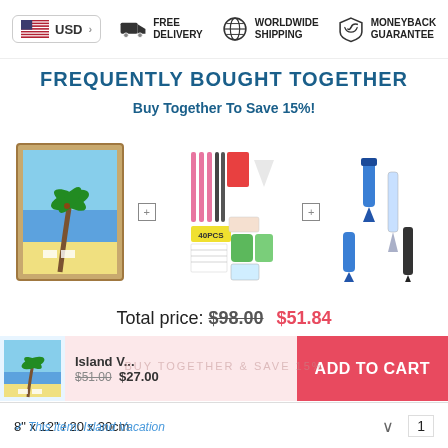USD  FREE DELIVERY  WORLDWIDE SHIPPING  MONEYBACK GUARANTEE
FREQUENTLY BOUGHT TOGETHER
Buy Together To Save 15%!
[Figure (photo): Three product images: beach/palm tree painting in frame, 40PCS diamond painting tools set, and two diamond painting pens]
Total price: $98.00  $51.84
Island V...  $51.00  $27.00  ADD TO CART
8" x 12" / 20 x 30cm   1
This item: Island Vacation